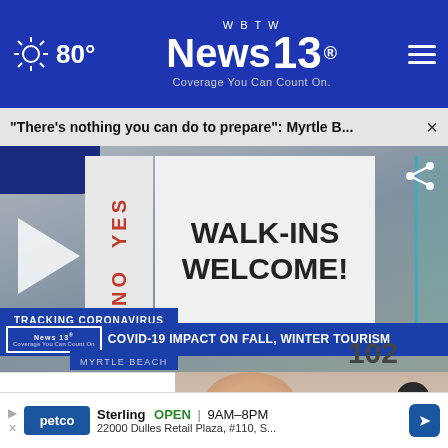WBTW News 13 — Coverage You Can Count On. 80°
"There's nothing you can do to prepare": Myrtle B... ×
[Figure (screenshot): Video thumbnail showing a sign reading WALK-INS WELCOME! with YES NO signage, News 13 lower-third showing TRACKING CORONAVIRUS / COVID-19 IMPACT ON FALL, WINTER TOURISM / MYRTLE BEACH. Play button overlay visible.]
[Figure (photo): Partial close-up photo of a person's face with a circular close (×) button overlay]
Sterling  OPEN  9AM–8PM
22000 Dulles Retail Plaza, #110, S...
Petco advertisement banner